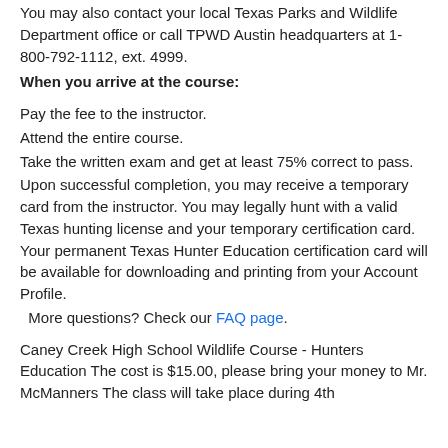You may also contact your local Texas Parks and Wildlife Department office or call TPWD Austin headquarters at 1-800-792-1112, ext. 4999.
When you arrive at the course:
Pay the fee to the instructor.
Attend the entire course.
Take the written exam and get at least 75% correct to pass.
Upon successful completion, you may receive a temporary card from the instructor. You may legally hunt with a valid Texas hunting license and your temporary certification card. Your permanent Texas Hunter Education certification card will be available for downloading and printing from your Account Profile.
More questions? Check our FAQ page.
Caney Creek High School Wildlife Course - Hunters Education The cost is $15.00, please bring your money to Mr. McManners The class will take place during 4th